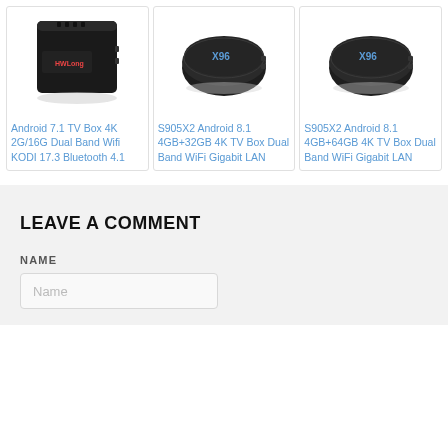[Figure (photo): Product image: Android TV Box 4K, black rectangular device]
[Figure (photo): Product image: X96 S905X2 Android TV Box, black compact device]
[Figure (photo): Product image: X96 S905X2 Android TV Box, black compact device (64GB variant)]
Android 7.1 TV Box 4K 2G/16G Dual Band Wifi KODI 17.3 Bluetooth 4.1
S905X2 Android 8.1 4GB+32GB 4K TV Box Dual Band WiFi Gigabit LAN
S905X2 Android 8.1 4GB+64GB 4K TV Box Dual Band WiFi Gigabit LAN
LEAVE A COMMENT
NAME